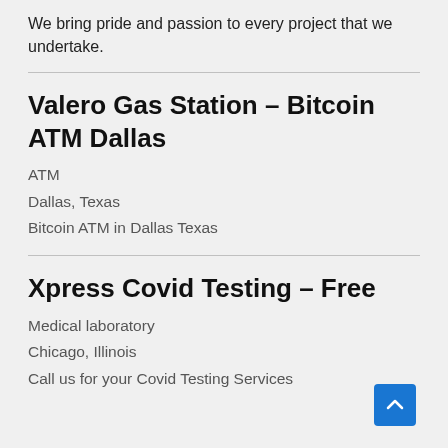We bring pride and passion to every project that we undertake.
Valero Gas Station – Bitcoin ATM Dallas
ATM
Dallas, Texas
Bitcoin ATM in Dallas Texas
Xpress Covid Testing – Free
Medical laboratory
Chicago, Illinois
Call us for your Covid Testing Services